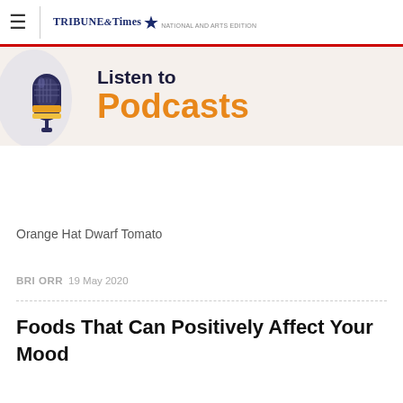≡ TRIBUNE & Times [logo with star]
[Figure (illustration): Listen to Podcasts banner with microphone illustration. Text reads 'Listen to Podcasts' in dark navy and orange.]
Orange Hat Dwarf Tomato
BRI ORR  19 May 2020
Foods That Can Positively Affect Your Mood